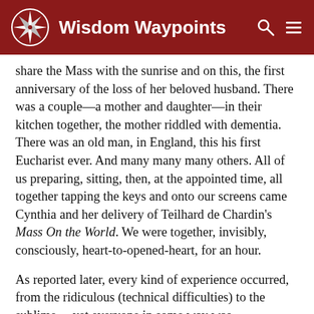Wisdom Waypoints
share the Mass with the sunrise and on this, the first anniversary of the loss of her beloved husband. There was a couple—a mother and daughter—in their kitchen together, the mother riddled with dementia.  There was an old man, in England, this his first Eucharist ever. And many many many others. All of us preparing, sitting, then, at the appointed time, all together tapping the keys and onto our screens came Cynthia and her delivery of Teilhard de Chardin's Mass On the World. We were together, invisibly, consciously, heart-to-opened-heart, for an hour.
As reported later, every kind of experience occurred, from the ridiculous (technical difficulties) to the sublime… yet everyone in some way was